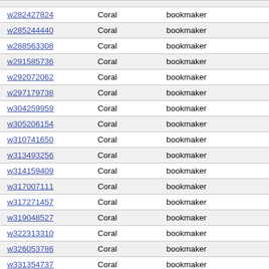| w282427824 | Coral | bookmaker |
| w285244440 | Coral | bookmaker |
| w288563308 | Coral | bookmaker |
| w291585736 | Coral | bookmaker |
| w292072062 | Coral | bookmaker |
| w297179738 | Coral | bookmaker |
| w304259959 | Coral | bookmaker |
| w305206154 | Coral | bookmaker |
| w310741650 | Coral | bookmaker |
| w313493256 | Coral | bookmaker |
| w314159409 | Coral | bookmaker |
| w317007111 | Coral | bookmaker |
| w317271457 | Coral | bookmaker |
| w319048527 | Coral | bookmaker |
| w322313310 | Coral | bookmaker |
| w326053786 | Coral | bookmaker |
| w331354737 | Coral | bookmaker |